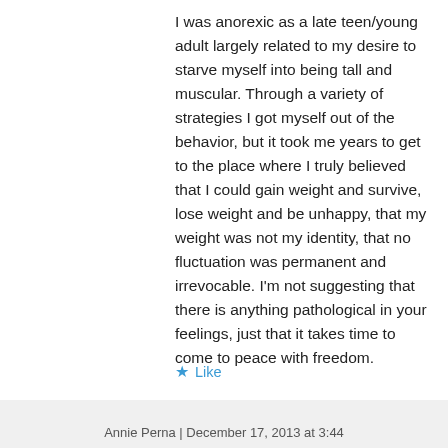I was anorexic as a late teen/young adult largely related to my desire to starve myself into being tall and muscular. Through a variety of strategies I got myself out of the behavior, but it took me years to get to the place where I truly believed that I could gain weight and survive, lose weight and be unhappy, that my weight was not my identity, that no fluctuation was permanent and irrevocable. I'm not suggesting that there is anything pathological in your feelings, just that it takes time to come to peace with freedom.
★ Like
↳ Reply
Annie Perna | December 17, 2013 at 3:44